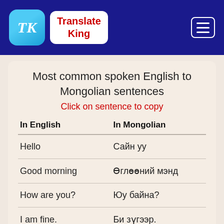TK Translate King
Most common spoken English to Mongolian sentences
Click on sentence to copy
| In English | In Mongolian |
| --- | --- |
| Hello | Сайн уу |
| Good morning | Өглөөний мэнд |
| How are you? | Юу байна? |
| I am fine. | Би зүгээр. |
| Thank you | Баярлалаа |